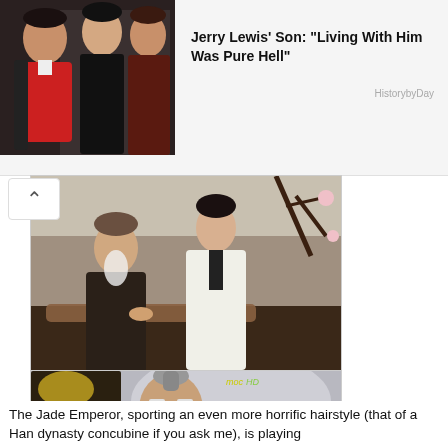[Figure (photo): Photo of Jerry Lewis and two women at an event, man in red shirt on left]
Jerry Lewis' Son: "Living With Him Was Pure Hell"
HistorybyDay
[Figure (screenshot): Scene from a Chinese historical TV drama showing characters in traditional robes, one playing a guqin instrument, with decorative background]
[Figure (screenshot): Scene from a Chinese historical TV drama showing the Jade Emperor, an older man with white beard and traditional robes, reading a red book. MOCHD watermark visible.]
The Jade Emperor, sporting an even more horrific hairstyle (that of a Han dynasty concubine if you ask me), is playing